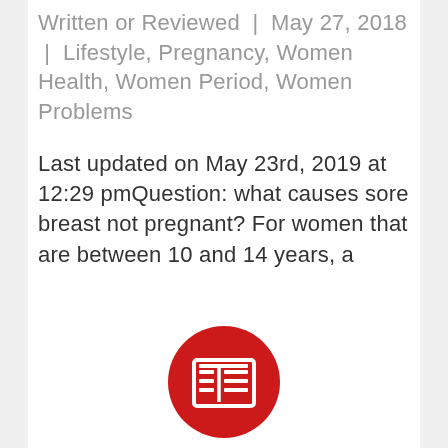Written or Reviewed | May 27, 2018 | Lifestyle, Pregnancy, Women Health, Women Period, Women Problems
Last updated on May 23rd, 2019 at 12:29 pmQuestion: what causes sore breast not pregnant? For women that are between 10 and 14 years, a
[Figure (illustration): Red circle button with a newspaper/article icon (two columns of lines) in white]